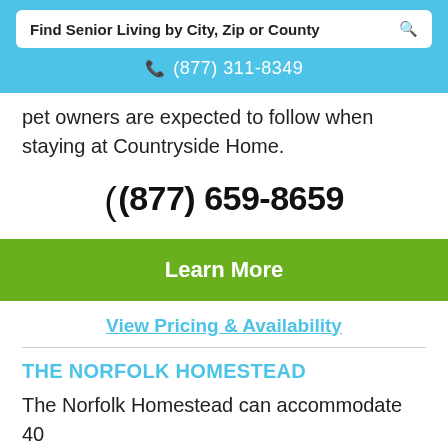Find Senior Living by City, Zip or County
(877) 311-8349
pet owners are expected to follow when staying at Countryside Home.
(877) 659-8659
Learn More
View Pricing & Availability
THE NORFOLK HOMESTEAD
The Norfolk Homestead can accommodate 40